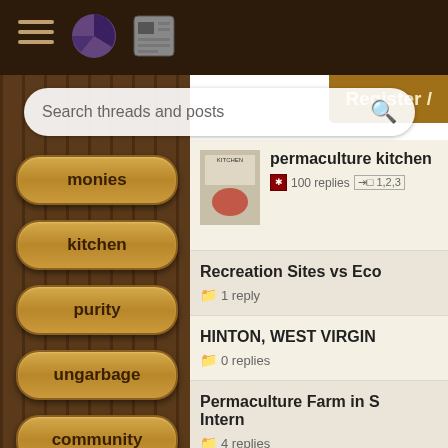Permaculture forum navigation header with hamburger menu, pie icon, news icon
Register /
Search threads and posts
monies
kitchen
purity
ungarbage
community
wilderness
fiber arts
permaculture kitchen
100 replies [→□ 1,2,3]
Recreation Sites vs Eco
1 reply
HINTON, WEST VIRGIN
0 replies
Permaculture Farm in S Intern
4 replies